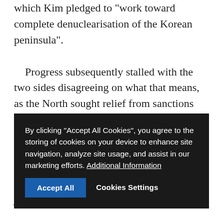which Kim pledged to "work toward complete denuclearisation of the Korean peninsula".
Progress subsequently stalled with the two sides disagreeing on what that means, as the North sought relief from sanctions and Washington pressed for concrete steps toward it giving up its weapons.
The two leaders put on a show of bonhomie in Vietnam, appearing to share jokes in front of reporters.
With aides instructed to say little, they indulged in a poolside stroll Thursday around the gardens of the luxury Metropole Hotel, a colonial-era building that has played host to stars ranging from Charlie Chaplin to Brad Pitt.
[Figure (screenshot): Cookie consent overlay with dark background. Text: 'By clicking "Accept All Cookies", you agree to the storing of cookies on your device to enhance site navigation, analyze site usage, and assist in our marketing efforts. Additional Information'. Two buttons: 'Accept All' (blue) and 'Cookies Settings' (white text).]